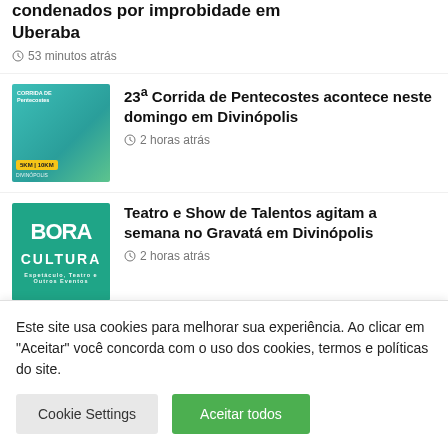condenados por improbidade em Uberaba
53 minutos atrás
23ª Corrida de Pentecostes acontece neste domingo em Divinópolis
2 horas atrás
Teatro e Show de Talentos agitam a semana no Gravatá em Divinópolis
2 horas atrás
Campanha alerta para malefícios do cigarro eletrônico
2 horas atrás
Este site usa cookies para melhorar sua experiência. Ao clicar em "Aceitar" você concorda com o uso dos cookies, termos e políticas do site.